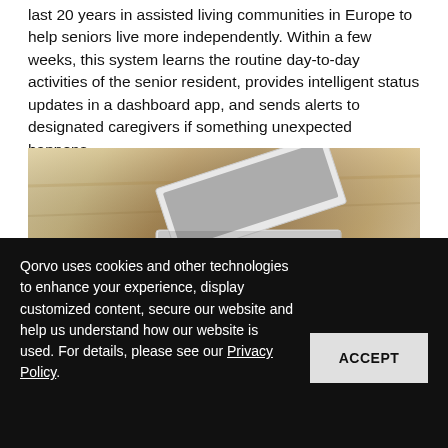seniors live more independently. Within a few weeks, this system learns the routine day-to-day activities of the senior resident, provides intelligent status updates in a dashboard app, and sends alerts to designated caregivers if something unexpected happens.
[Figure (photo): Product photo of Sensara smart home monitoring kit on a wooden table: open white branded box, several small white sensors/devices, and a smartphone showing a colorful app screen, with a glass mug of tea in the background.]
Qorvo uses cookies and other technologies to enhance your experience, display customized content, secure our website and help us understand how our website is used. For details, please see our Privacy Policy.